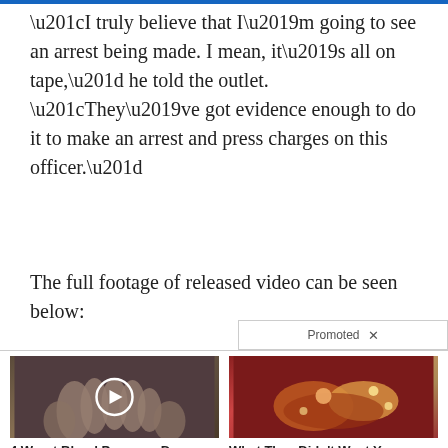“I truly believe that I’m going to see an arrest being made. I mean, it’s all on tape,” he told the outlet. “They’ve got evidence enough to do it to make an arrest and press charges on this officer.”
The full footage of released video can be seen below:
[Figure (other): Promoted ad label with X close button]
[Figure (photo): Ad image showing hands on a dark background with a video play button overlay. Title: 4 Worst Blood Pressure Drugs (Avoid At All Costs). Count: 7,834]
[Figure (photo): Ad image showing internal body/organ imagery. Title: What They Didn't Want You Knowing About Metformin. Count: 205,327]